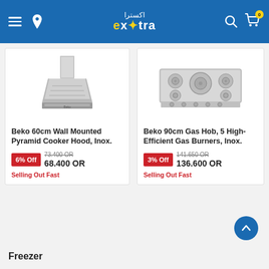Extra (اكسترا) e-commerce website header with logo, hamburger menu, location, search, and cart icons
[Figure (photo): Beko 60cm Wall Mounted Pyramid Cooker Hood in Inox/stainless steel finish]
Beko 60cm Wall Mounted Pyramid Cooker Hood, Inox.
6% Off  73.400 OR  68.400 OR
Selling Out Fast
[Figure (photo): Beko 90cm Gas Hob with 5 High-Efficient Gas Burners in Inox/stainless steel finish]
Beko 90cm Gas Hob, 5 High-Efficient Gas Burners, Inox.
3% Off  141.650 OR  136.600 OR
Selling Out Fast
Freezer